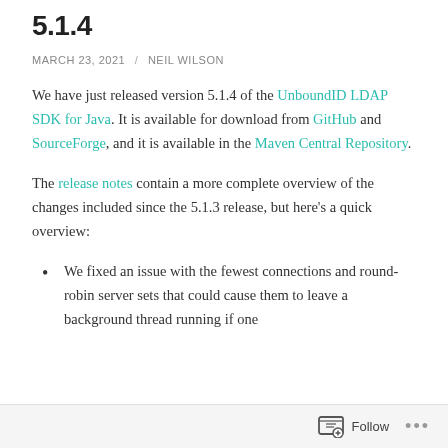5.1.4
MARCH 23, 2021 / NEIL WILSON
We have just released version 5.1.4 of the UnboundID LDAP SDK for Java. It is available for download from GitHub and SourceForge, and it is available in the Maven Central Repository.
The release notes contain a more complete overview of the changes included since the 5.1.3 release, but here’s a quick overview:
We fixed an issue with the fewest connections and round-robin server sets that could cause them to leave a background thread running if one
Follow ...